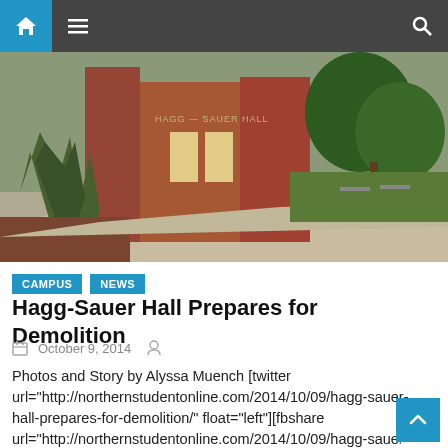Navigation bar with home, menu, and search icons
[Figure (photo): Exterior photo of Hagg-Sauer Hall, a brick university building with green trees and landscaping in the foreground]
CAMPUS   NEWS
Hagg-Sauer Hall Prepares for Demolition
October 9, 2014
Photos and Story by Alyssa Muench [twitter url="http://northernstudentonline.com/2014/10/09/hagg-sauer-hall-prepares-for-demolition/" float="left"][fbshare url="http://northernstudentonline.com/2014/10/09/hagg-sauer-hall-prepares-for-demolition/" type="button"][linkedin_share